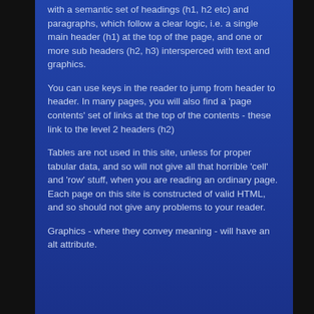with a semantic set of headings (h1, h2 etc) and paragraphs, which follow a clear logic, i.e. a single main header (h1) at the top of the page, and one or more sub headers (h2, h3) intersperced with text and graphics.
You can use keys in the reader to jump from header to header. In many pages, you will also find a 'page contents' set of links at the top of the contents - these link to the level 2 headers (h2)
Tables are not used in this site, unless for proper tabular data, and so will not give all that horrible 'cell' and 'row' stuff, when you are reading an ordinary page. Each page on this site is constructed of valid HTML, and so should not give any problems to your reader.
Graphics - where they convey meaning - will have an alt attribute.